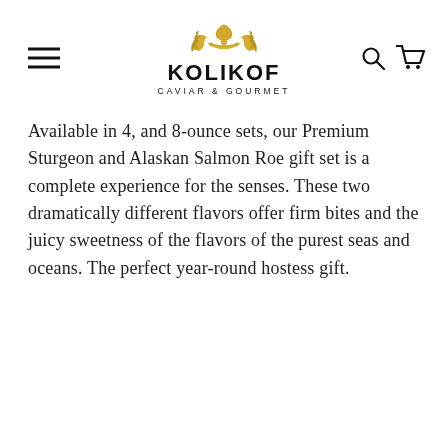[Figure (logo): Kolikof Caviar & Gourmet logo with golden ornamental crest above bold black uppercase text KOLIKOF and subtitle CAVIAR & GOURMET, with hamburger menu icon on the left and search/cart icons on the right.]
Available in 4, and 8-ounce sets, our Premium Sturgeon and Alaskan Salmon Roe gift set is a complete experience for the senses. These two dramatically different flavors offer firm bites and the juicy sweetness of the flavors of the purest seas and oceans. The perfect year-round hostess gift.